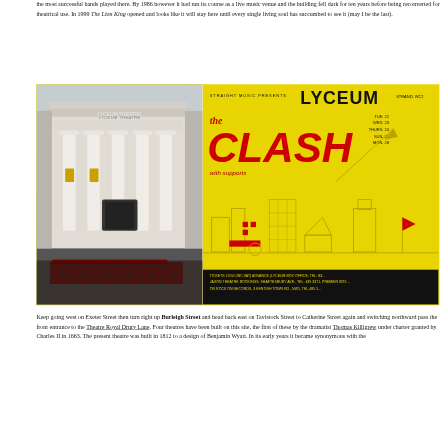the most successful bands played there. By 1986 however it had run its course as a live music venue and the building fell dark for ten years before being reconverted for theatrical use. In 1999 The Lion King opened and looks like it will stay here until every single living soul has succumbed to see it (may I be the last).
[Figure (photo): Left: Photo of the Lyceum Theatre exterior showing its classical columned facade with The Lion King signage and bicycles parked in front. Right: Vintage yellow concert poster for The Clash at the Lyceum, Strand WC2, presented by Straight Music, with bold red lettering and graphic cityscape illustration, showing ticket prices of £3.50 inc VAT and booking details.]
Keep going west on Exeter Street then turn right up Burleigh Street and head back east on Tavistock Street to Catherine Street again and switching northward pass the front entrance to the Theatre Royal Drury Lane. Four theatres have been built on this site, the first of these by the dramatist Thomas Killigrew under charter granted by Charles II in 1663. The present theatre was built in 1812 to a design of Benjamin Wyatt. In its early years it became synonymous with the